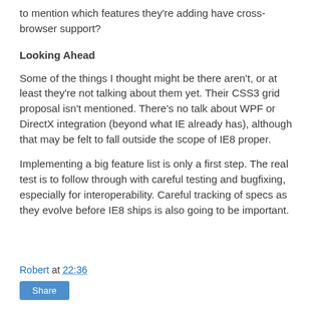to mention which features they're adding have cross-browser support?
Looking Ahead
Some of the things I thought might be there aren't, or at least they're not talking about them yet. Their CSS3 grid proposal isn't mentioned. There's no talk about WPF or DirectX integration (beyond what IE already has), although that may be felt to fall outside the scope of IE8 proper.
Implementing a big feature list is only a first step. The real test is to follow through with careful testing and bugfixing, especially for interoperability. Careful tracking of specs as they evolve before IE8 ships is also going to be important.
Robert at 22:36
Share